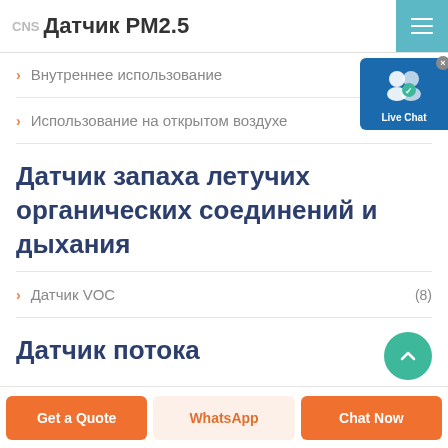Датчик PM2.5
Внутреннее использование
Использование на открытом воздухе (2)
Датчик запаха летучих органических соединений и дыхания
Датчик VOC (8)
Датчик потока